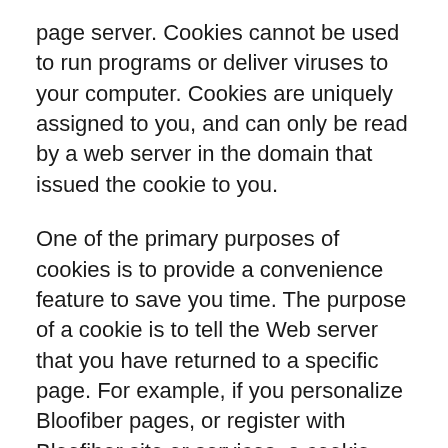page server. Cookies cannot be used to run programs or deliver viruses to your computer. Cookies are uniquely assigned to you, and can only be read by a web server in the domain that issued the cookie to you.
One of the primary purposes of cookies is to provide a convenience feature to save you time. The purpose of a cookie is to tell the Web server that you have returned to a specific page. For example, if you personalize Bloofiber pages, or register with Bloofiber site or services, a cookie helps Bloofiber to recall your specific information on subsequent visits. This simplifies the process of recording your personal information, such as billing addresses, shipping addresses, and so on. When you return to the same Bloofiber Web site, the information you previously provided can be retrieved, so you can easily use the Bloofiber